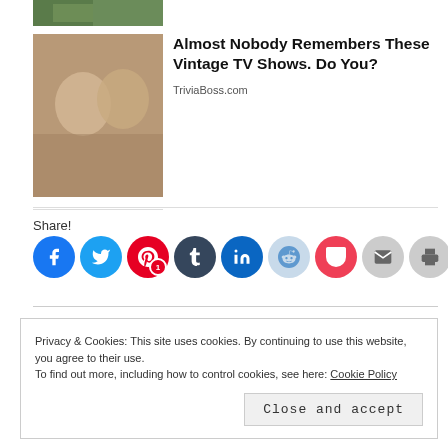[Figure (photo): Partial top of a thumbnail image showing two people, cropped at top of page]
[Figure (photo): Thumbnail of two smiling people in casual clothes, vintage TV show]
Almost Nobody Remembers These Vintage TV Shows. Do You?
TriviaBoss.com
Share!
[Figure (infographic): Row of social share buttons: Facebook, Twitter, Pinterest (with badge 1), Tumblr, LinkedIn, Reddit, Pocket, Email, Print]
Privacy & Cookies: This site uses cookies. By continuing to use this website, you agree to their use.
To find out more, including how to control cookies, see here: Cookie Policy
Close and accept